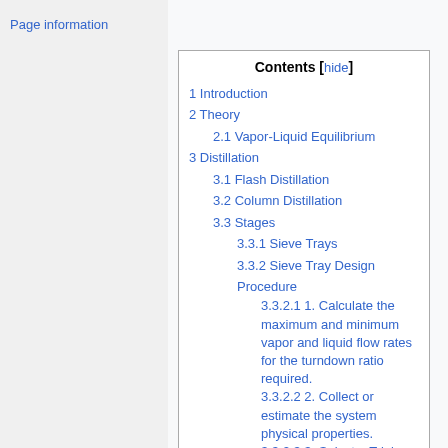Page information
1 Introduction
2 Theory
2.1 Vapor-Liquid Equilibrium
3 Distillation
3.1 Flash Distillation
3.2 Column Distillation
3.3 Stages
3.3.1 Sieve Trays
3.3.2 Sieve Tray Design Procedure
3.3.2.1 1. Calculate the maximum and minimum vapor and liquid flow rates for the turndown ratio required.
3.3.2.2 2. Collect or estimate the system physical properties.
3.3.2.3 3. Select a Trial Plate Spacing